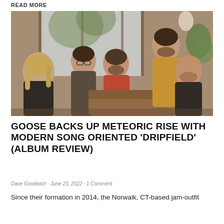READ MORE
[Figure (photo): Group photo of five members of the band Goose posed in an indoor setting with wood paneling, windows, and plants. Three men are seated/crouching, one stands behind them, and one is seated on a couch in a red shirt.]
GOOSE BACKS UP METEORIC RISE WITH MODERN SONG ORIENTED 'DRIPFIELD' (ALBUM REVIEW)
Dave Goodwich · June 23, 2022 · 1 Comment
Since their formation in 2014, the Norwalk, CT-based jam-outfit